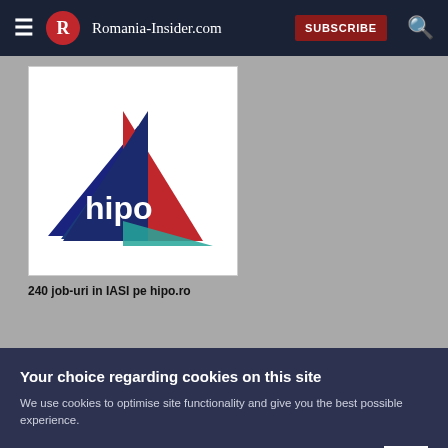Romania-Insider.com — SUBSCRIBE
[Figure (logo): Hipo logo — geometric triangles in dark blue, red, and teal with 'hipo' text in white]
240 job-uri in IASI pe hipo.ro
Your choice regarding cookies on this site
We use cookies to optimise site functionality and give you the best possible experience.
Accept | Cookie Preferences | X